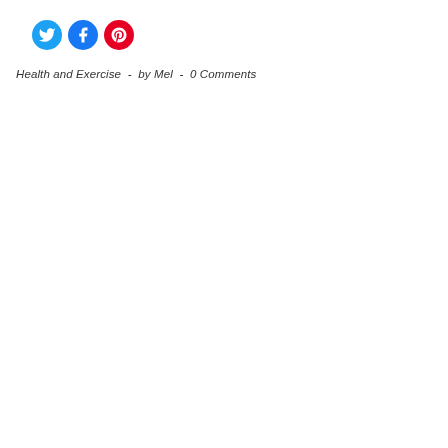[Figure (illustration): Three social media share buttons: Twitter (blue bird icon), Facebook (blue f icon), Pinterest (red P icon)]
Health and Exercise  -  by Mel  -  0 Comments